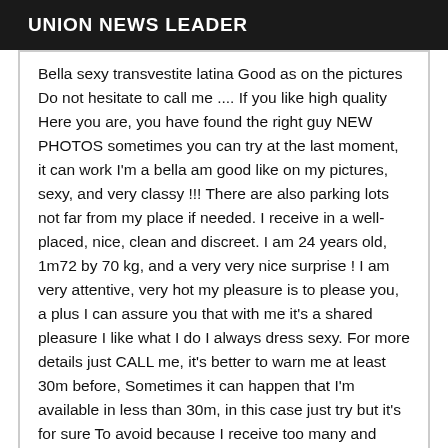UNION NEWS LEADER
Bella sexy transvestite latina Good as on the pictures Do not hesitate to call me .... If you like high quality Here you are, you have found the right guy NEW PHOTOS sometimes you can try at the last moment, it can work I'm a bella am good like on my pictures, sexy, and very classy !!! There are also parking lots not far from my place if needed. I receive in a well-placed, nice, clean and discreet. I am 24 years old, 1m72 by 70 kg, and a very very nice surprise ! I am very attentive, very hot my pleasure is to please you, a plus I can assure you that with me it's a shared pleasure I like what I do I always dress sexy. For more details just CALL me, it's better to warn me at least 30m before, Sometimes it can happen that I'm available in less than 30m, in this case just try but it's for sure To avoid because I receive too many and hidden calls are also to be avoided. I'm also used to it with beginners. Discretion is assured soon I don't